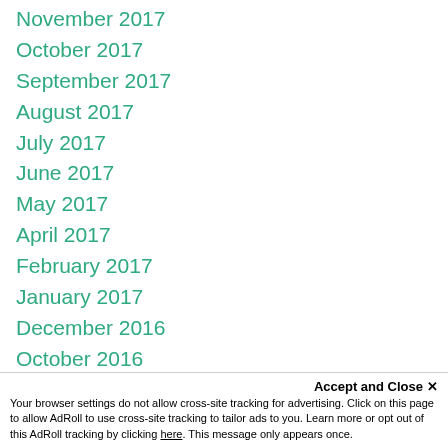November 2017
October 2017
September 2017
August 2017
July 2017
June 2017
May 2017
April 2017
February 2017
January 2017
December 2016
October 2016
September 2016
August 2016
May 2016
April 2016
March 2016
Accept and Close ✕
Your browser settings do not allow cross-site tracking for advertising. Click on this page to allow AdRoll to use cross-site tracking to tailor ads to you. Learn more or opt out of this AdRoll tracking by clicking here. This message only appears once.